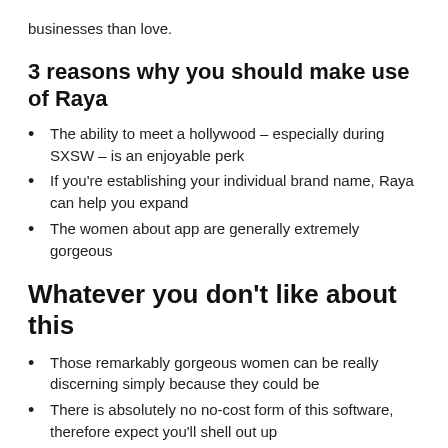businesses than love.
3 reasons why you should make use of Raya
The ability to meet a hollywood – especially during SXSW – is an enjoyable perk
If you're establishing your individual brand name, Raya can help you expand
The women about app are generally extremely gorgeous
Whatever you don't like about this
Those remarkably gorgeous women can be really discerning simply because they could be
There is absolutely no no-cost form of this software, therefore expect you'll shell out up